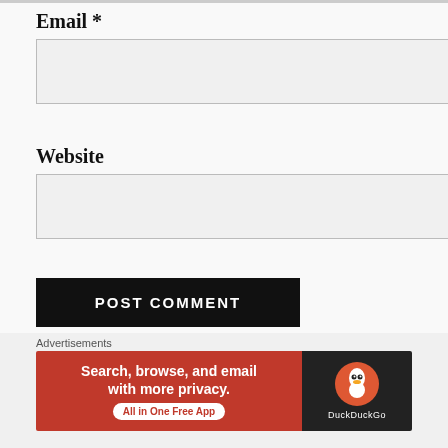Email *
Website
POST COMMENT
Notify me of new comments via email.
Notify me of new posts via email.
Advertisements
[Figure (screenshot): DuckDuckGo advertisement banner: 'Search, browse, and email with more privacy. All in One Free App' with DuckDuckGo logo on dark background]